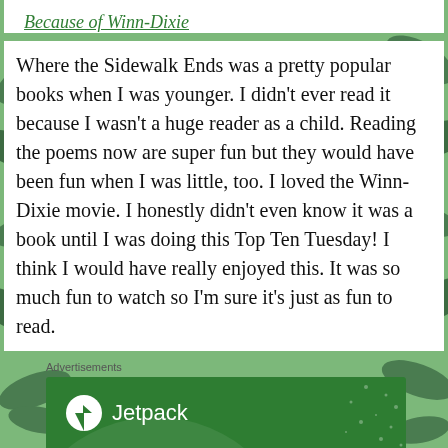Because of Winn-Dixie
Where the Sidewalk Ends was a pretty popular books when I was younger. I didn't ever read it because I wasn't a huge reader as a child. Reading the poems now are super fun but they would have been fun when I was little, too. I loved the Winn-Dixie movie. I honestly didn't even know it was a book until I was doing this Top Ten Tuesday! I think I would have really enjoyed this. It was so much fun to watch so I'm sure it's just as fun to read.
Advertisements
[Figure (screenshot): Jetpack advertisement banner with green background showing Jetpack logo and text 'The best real-time WordPress backup']